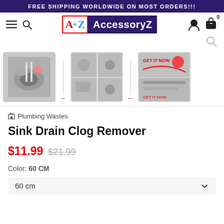FREE SHIPPING WORLDWIDE ON MOST ORDERS!!!
[Figure (logo): AccessoryZ logo with A-Z in red circle and dark purple background with white text]
[Figure (photo): Product thumbnail images of Sink Drain Clog Remover showing drain cleaning tool in use and product details]
Plumbing Wastes
Sink Drain Clog Remover
$11.99 $21.99
Color: 60 CM
60 cm